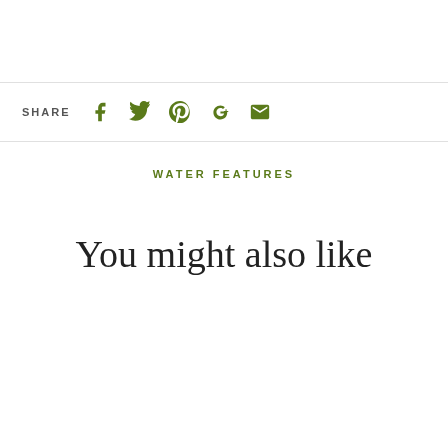SHARE
[Figure (infographic): Social share icons: Facebook, Twitter, Pinterest, Google+, Email — all in olive green]
WATER FEATURES
You might also like